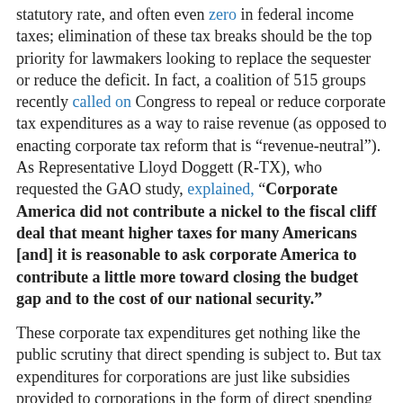statutory rate, and often even zero in federal income taxes; elimination of these tax breaks should be the top priority for lawmakers looking to replace the sequester or reduce the deficit. In fact, a coalition of 515 groups recently called on Congress to repeal or reduce corporate tax expenditures as a way to raise revenue (as opposed to enacting corporate tax reform that is “revenue-neutral”). As Representative Lloyd Doggett (R-TX), who requested the GAO study, explained, “Corporate America did not contribute a nickel to the fiscal cliff deal that meant higher taxes for many Americans [and] it is reasonable to ask corporate America to contribute a little more toward closing the budget gap and to the cost of our national security.”
These corporate tax expenditures get nothing like the public scrutiny that direct spending is subject to. But tax expenditures for corporations are just like subsidies provided to corporations in the form of direct spending because Americans have to make up the costs somehow.